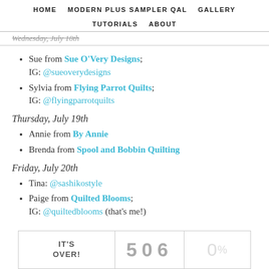HOME   MODERN PLUS SAMPLER QAL   GALLERY   TUTORIALS   ABOUT
Wednesday, July 18th
Sue from Sue O'Very Designs; IG: @sueoverydesigns
Sylvia from Flying Parrot Quilts; IG: @flyingparrotquilts
Thursday, July 19th
Annie from By Annie
Brenda from Spool and Bobbin Quilting
Friday, July 20th
Tina: @sashikostyle
Paige from Quilted Blooms; IG: @quiltedblooms (that's me!)
[Figure (other): Widget box with IT'S OVER! label, count 506, and 0%]